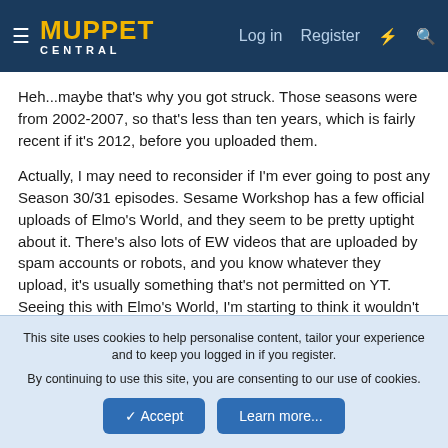Muppet Central | Log in | Register
Heh...maybe that's why you got struck. Those seasons were from 2002-2007, so that's less than ten years, which is fairly recent if it's 2012, before you uploaded them.
Actually, I may need to reconsider if I'm ever going to post any Season 30/31 episodes. Sesame Workshop has a few official uploads of Elmo's World, and they seem to be pretty uptight about it. There's also lots of EW videos that are uploaded by spam accounts or robots, and you know whatever they upload, it's usually something that's not permitted on YT. Seeing this with Elmo's World, I'm starting to think it wouldn't be a good idea to post episodes if they have EW in them.
This site uses cookies to help personalise content, tailor your experience and to keep you logged in if you register.
By continuing to use this site, you are consenting to our use of cookies.